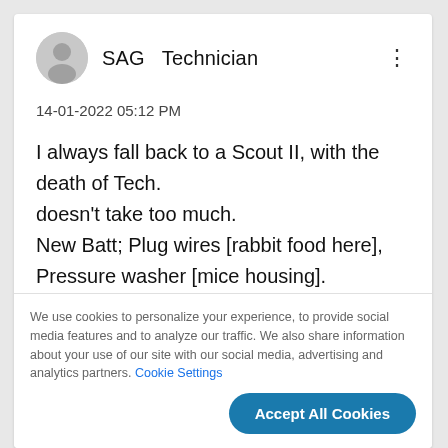[Figure (illustration): User avatar circle with generic person silhouette icon]
SAG  Technician
14-01-2022 05:12 PM
I always fall back to a Scout II, with the death of Tech.
doesn't take too much.
New Batt; Plug wires [rabbit food here],
Pressure washer [mice housing].
We use cookies to personalize your experience, to provide social media features and to analyze our traffic. We also share information about your use of our site with our social media, advertising and analytics partners. Cookie Settings
Accept All Cookies